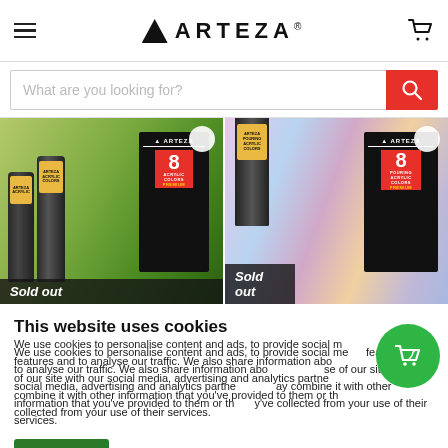ARTEZA® — Navigation bar with hamburger menu and cart icon
[Figure (screenshot): Arteza website header with logo, hamburger menu, and cart icon]
[Figure (screenshot): Search bar with placeholder 'What are you looking for?' and red search button]
[Figure (photo): Two Arteza acrylic color product sets shown side by side, both labeled 'Sold out']
This website uses cookies
We use cookies to personalise content and ads, to provide social media features and to analyse our traffic. We also share information about your use of our site with our social media, advertising and analytics partners who may combine it with other information that you've provided to them or that they've collected from your use of their services.
OK
Show details